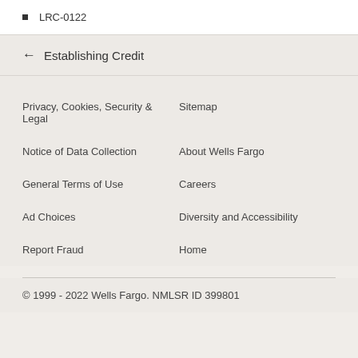LRC-0122
← Establishing Credit
Privacy, Cookies, Security & Legal
Sitemap
Notice of Data Collection
About Wells Fargo
General Terms of Use
Careers
Ad Choices
Diversity and Accessibility
Report Fraud
Home
© 1999 - 2022 Wells Fargo. NMLSR ID 399801